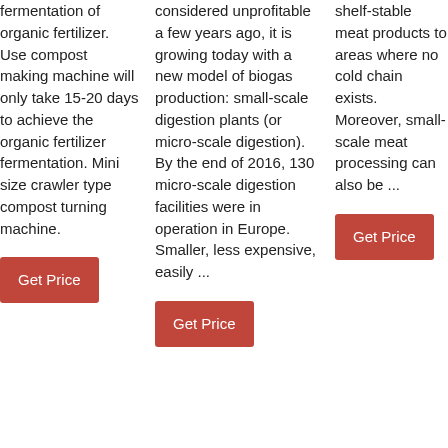fermentation of organic fertilizer. Use compost making machine will only take 15-20 days to achieve the organic fertilizer fermentation. Mini size crawler type compost turning machine.
Get Price
considered unprofitable a few years ago, it is growing today with a new model of biogas production: small-scale digestion plants (or micro-scale digestion). By the end of 2016, 130 micro-scale digestion facilities were in operation in Europe. Smaller, less expensive, easily ...
Get Price
shelf-stable meat products to areas where no cold chain exists. Moreover, small-scale meat processing can also be ...
Get Price